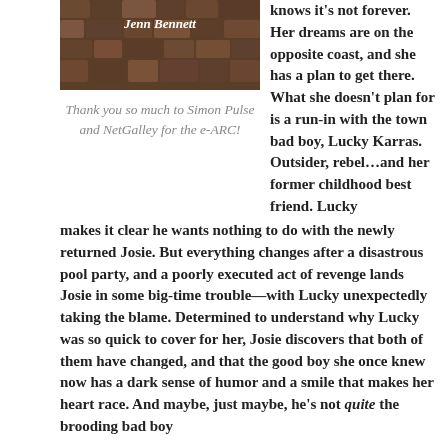[Figure (illustration): Book cover image with 'Jenn Bennett' text on a dark cobblestone background]
Thank you so much to Simon Pulse and NetGalley for the e-ARC!
knows it's not forever. Her dreams are on the opposite coast, and she has a plan to get there. What she doesn't plan for is a run-in with the town bad boy, Lucky Karras. Outsider, rebel…and her former childhood best friend. Lucky makes it clear he wants nothing to do with the newly returned Josie. But everything changes after a disastrous pool party, and a poorly executed act of revenge lands Josie in some big-time trouble—with Lucky unexpectedly taking the blame. Determined to understand why Lucky was so quick to cover for her, Josie discovers that both of them have changed, and that the good boy she once knew now has a dark sense of humor and a smile that makes her heart race. And maybe, just maybe, he's not quite the brooding bad boy